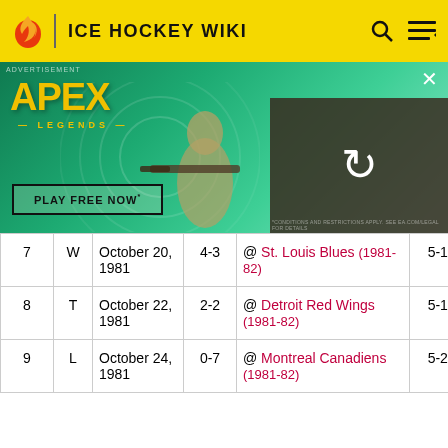ICE HOCKEY WIKI
[Figure (screenshot): Apex Legends advertisement banner with character holding sniper rifle, green background, PLAY FREE NOW button]
| # | W/L/T | Date | Score | Opponent | Record |  |
| --- | --- | --- | --- | --- | --- | --- |
| 7 | W | October 20, 1981 | 4-3 | @ St. Louis Blues (1981-82) | 5-1-1 |  |
| 8 | T | October 22, 1981 | 2-2 | @ Detroit Red Wings (1981-82) | 5-1-2 |  |
| 9 | L | October 24, 1981 | 0-7 | @ Montreal Canadiens (1981-82) | 5-2-2 |  |